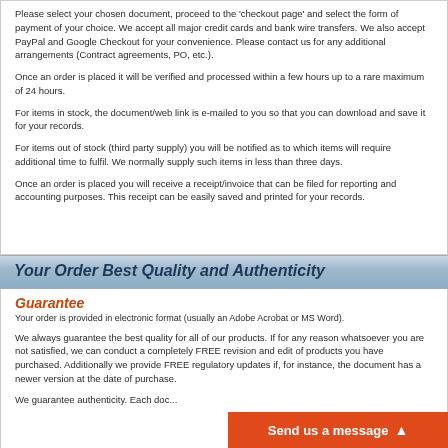Please select your chosen document, proceed to the 'checkout page' and select the form of payment of your choice. We accept all major credit cards and bank wire transfers. We also accept PayPal and Google Checkout for your convenience. Please contact us for any additional arrangements (Contract agreements, PO, etc.).
Once an order is placed it will be verified and processed within a few hours up to a rare maximum of 24 hours.
For items in stock, the document/web link is e-mailed to you so that you can download and save it for your records.
For items out of stock (third party supply) you will be notified as to which items will require additional time to fulfil. We normally supply such items in less than three days.
Once an order is placed you will receive a receipt/invoice that can be filed for reporting and accounting purposes. This receipt can be easily saved and printed for your records.
Your Order Best Quality and Authenticity
Guarantee
Your order is provided in electronic format (usually an Adobe Acrobat or MS Word).
We always guarantee the best quality for all of our products. If for any reason whatsoever you are not satisfied, we can conduct a completely FREE revision and edit of products you have purchased. Additionally we provide FREE regulatory updates if, for instance, the document has a newer version at the date of purchase.
We guarantee authenticity. Each doc... original and official version. We only...